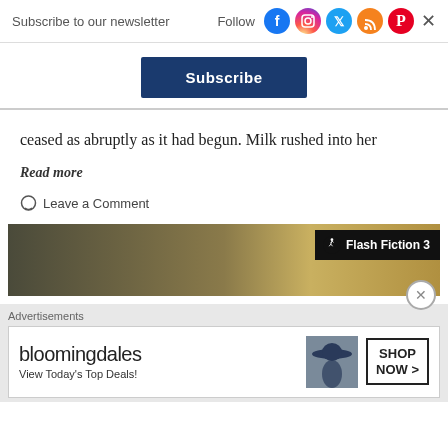Subscribe to our newsletter  Follow
[Figure (other): Subscribe button (dark blue)]
ceased as abruptly as it had begun. Milk rushed into her
Read more
Leave a Comment
[Figure (other): Flash Fiction 3 banner advertisement with dark gradient background and runner icon]
Advertisements
[Figure (other): Bloomingdales advertisement - View Today's Top Deals! with SHOP NOW button and woman in hat photo]